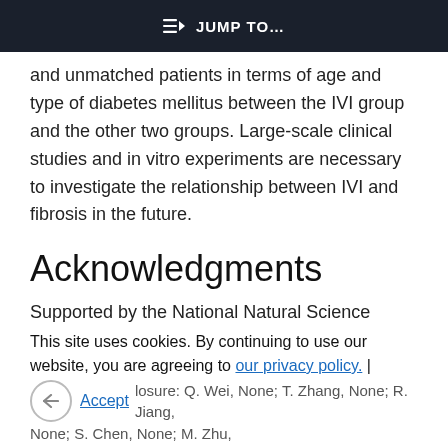JUMP TO...
and unmatched patients in terms of age and type of diabetes mellitus between the IVI group and the other two groups. Large-scale clinical studies and in vitro experiments are necessary to investigate the relationship between IVI and fibrosis in the future.
Acknowledgments
Supported by the National Natural Science Foundation of China (81570854) and the Foundation for the Shanghai Key Laboratory of Visual
This site uses cookies. By continuing to use our website, you are agreeing to our privacy policy. | Accept
losure: Q. Wei, None; T. Zhang, None; R. Jiang, None; S. Chen, None; M. Zhu,